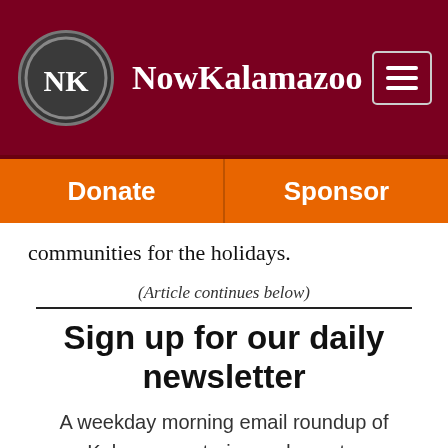NowKalamazoo
communities for the holidays.
(Article continues below)
Sign up for our daily newsletter
A weekday morning email roundup of Kalamazoo stories and events.